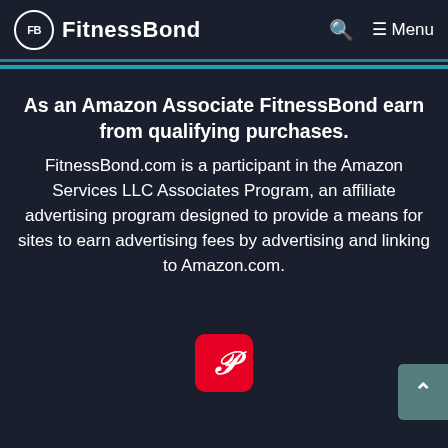FitnessBond
As an Amazon Associate FitnessBond earn from qualifying purchases. FitnessBond.com is a participant in the Amazon Services LLC Associates Program, an affiliate advertising program designed to provide a means for sites to earn advertising fees by advertising and linking to Amazon.com.
[Figure (logo): Pinterest red rounded square button with white P logo]
[Figure (other): Back to top button with upward arrow, teal/grey background]